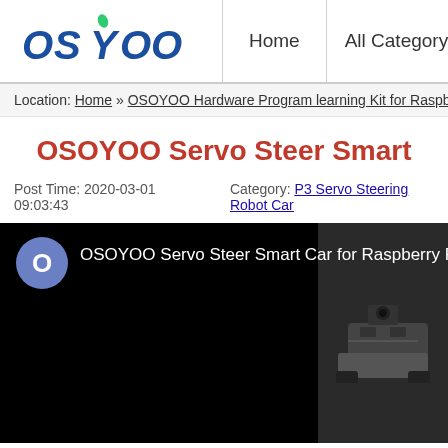OSOYOO | Home | All Category | Co...
Location: Home » OSOYOO Hardware Program learning Kit for Raspberry P...
OSOYOO Servo Steer Smart...
Post Time: 2020-03-01 09:03:43   Category: P3 Servo Steering Robot Car
[Figure (screenshot): Video thumbnail showing OSOYOO Servo Steer Smart Car for Raspberry Pi with a circular avatar icon showing 'O' on the left side and a dark image of a robot car on the right side]